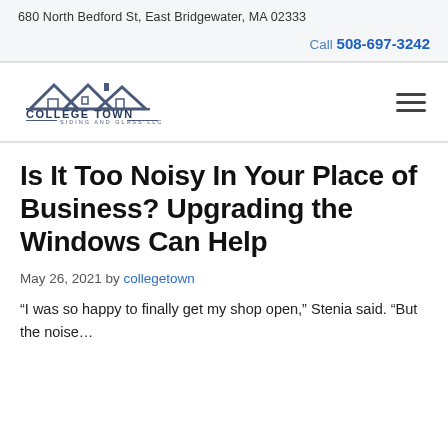680 North Bedford St, East Bridgewater, MA 02333
Call 508-697-3242
[Figure (logo): College Town Siding and Glass LLC logo with rooftop silhouette graphic and company name text]
Is It Too Noisy In Your Place of Business? Upgrading the Windows Can Help
May 26, 2021 by collegetown
“I was so happy to finally get my shop open,” Stenia said. “But the noise…